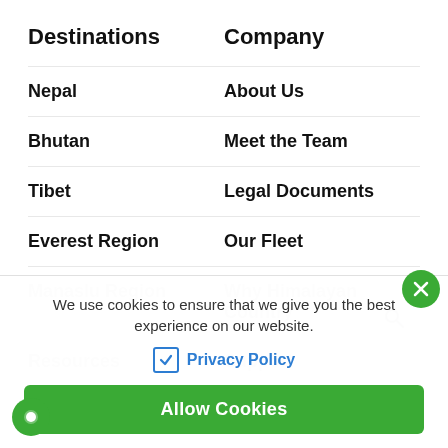Destinations
Company
Nepal
About Us
Bhutan
Meet the Team
Tibet
Legal Documents
Everest Region
Our Fleet
Manaslu Region
Why Himalayan Country
Resources
Support
Travel Guide
Customize Trip
We use cookies to ensure that we give you the best experience on our website.
Privacy Policy
Allow Cookies